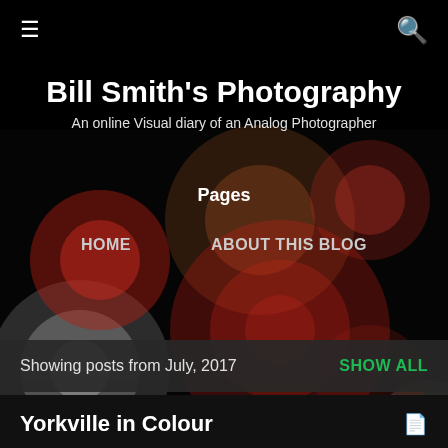[Figure (photo): Bokeh photography background with colorful out-of-focus lights (red, white, orange) against dark/black background]
≡  [menu icon]   [search icon]
Bill Smith's Photography
An online Visual diary of an Analog Photographer
Pages
HOME
ABOUT THIS BLOG
Showing posts from July, 2017    SHOW ALL
Yorkville in Colour
July 27, 2017
Technology sometimes isn't our friend. I use